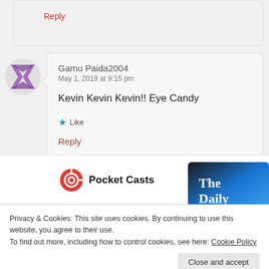Reply
[Figure (illustration): User avatar with purple geometric pattern on grey circle background]
Gamu Paida2004
May 1, 2019 at 9:15 pm
Kevin Kevin Kevin!! Eye Candy
★ Like
Reply
[Figure (logo): Pocket Casts logo with red circular icon and bold black text 'Pocket Casts']
[Figure (photo): The Daily podcast cover art, blue and black gradient with white text 'The Daily']
Privacy & Cookies: This site uses cookies. By continuing to use this website, you agree to their use.
To find out more, including how to control cookies, see here: Cookie Policy
Close and accept